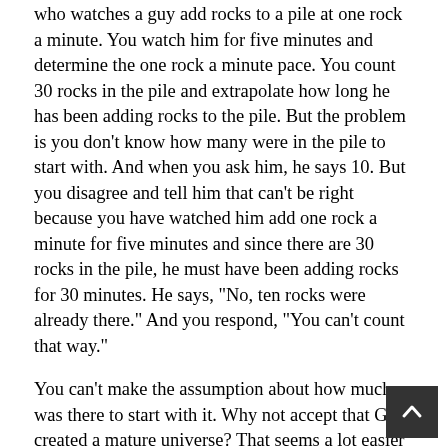who watches a guy add rocks to a pile at one rock a minute. You watch him for five minutes and determine the one rock a minute pace. You count 30 rocks in the pile and extrapolate how long he has been adding rocks to the pile. But the problem is you don't know how many were in the pile to start with. And when you ask him, he says 10. But you disagree and tell him that can't be right because you have watched him add one rock a minute for five minutes and since there are 30 rocks in the pile, he must have been adding rocks for 30 minutes. He says, "No, ten rocks were already there." And you respond, "You can't count that way."
You can't make the assumption about how much was there to start with it. Why not accept that God created a mature universe? That seems a lot easier than this rigamarole you are going through here. And realize that creating a mature universe doesn't even determine the age of the universe. It is, to at least some degree, irrelevant to OEC or YEC. That comes from other stuff.